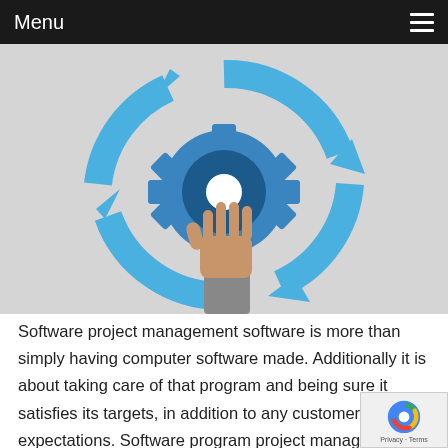Menu
[Figure (illustration): Illustration of a blue gear with circular blue arrows around it and a hand reaching up to touch the gear, on a light gray background. Represents software project management cycle.]
Software project management software is more than simply having computer software made. Additionally it is about taking care of that program and being sure it satisfies its targets, in addition to any customer expectations. Software program project management is normally an art and science of conspiring and